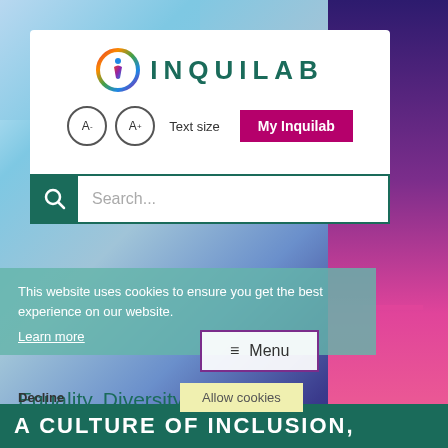[Figure (screenshot): Inquilab website screenshot showing logo, text size controls, My Inquilab button, search bar, cookie consent overlay, menu button, Equality Diversity & Inclusion heading, and A Culture of Inclusion banner.]
INQUILAB
A- A+ Text size
My Inquilab
Search...
This website uses cookies to ensure you get the best experience on our website.
Learn more
≡ Menu
Decline
Allow cookies
Equality, Diversity & Inclusion
A CULTURE OF INCLUSION,